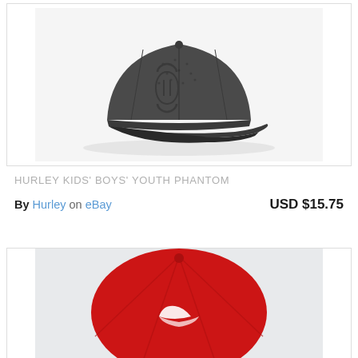[Figure (photo): Dark gray Hurley youth phantom cap viewed from the side on white background]
HURLEY KIDS' BOYS' YOUTH PHANTOM
By Hurley on eBay   USD $15.75
[Figure (photo): Red Hurley cap viewed from above/back on light gray background, partially visible]